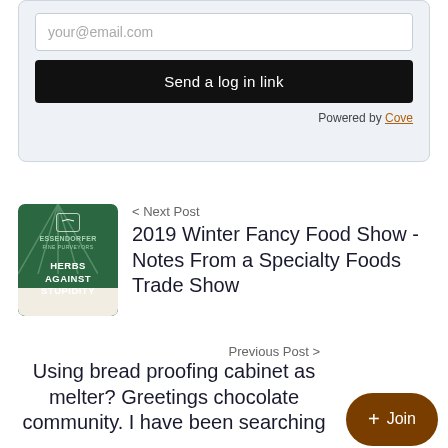[Figure (screenshot): Login form with email input field showing placeholder 'your@email.com', a black 'Send a log in link' button, and 'Powered by Cove' link, all on a light blue-gray background card]
< Next Post
2019 Winter Fancy Food Show - Notes From a Specialty Foods Trade Show
Previous Post >
Using bread proofing cabinet as melter? Greetings chocolate community. I have been searching